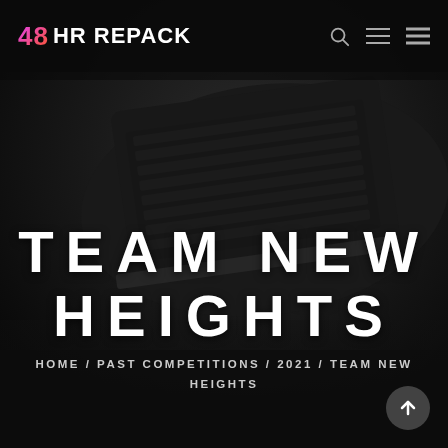48 HR REPACK
[Figure (photo): Dark background showing a laptop computer from above, dimly lit, set on a dark surface]
TEAM NEW HEIGHTS
HOME / PAST COMPETITIONS / 2021 / TEAM NEW HEIGHTS